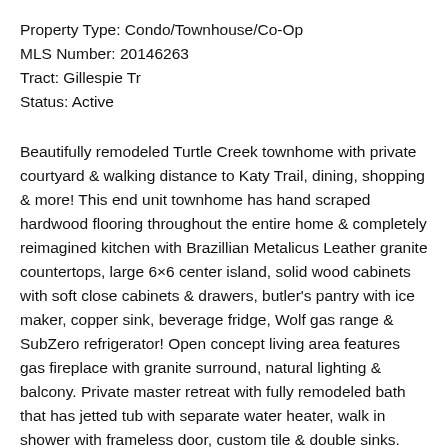Property Type: Condo/Townhouse/Co-Op
MLS Number: 20146263
Tract: Gillespie Tr
Status: Active
Beautifully remodeled Turtle Creek townhome with private courtyard & walking distance to Katy Trail, dining, shopping & more! This end unit townhome has hand scraped hardwood flooring throughout the entire home & completely reimagined kitchen with Brazillian Metalicus Leather granite countertops, large 6×6 center island, solid wood cabinets with soft close cabinets & drawers, butler's pantry with ice maker, copper sink, beverage fridge, Wolf gas range & SubZero refrigerator! Open concept living area features gas fireplace with granite surround, natural lighting & balcony. Private master retreat with fully remodeled bath that has jetted tub with separate water heater, walk in shower with frameless door, custom tile & double sinks. Both guest bedrooms